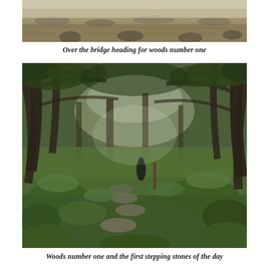[Figure (photo): Outdoor landscape photo showing a bridge area heading towards woods, with dry grassy/earthy ground visible]
Over the bridge heading for woods number one
[Figure (photo): Wooded path with stepping stones, lush green undergrowth, twisted trees overhead, and a figure visible on the path]
Woods number one and the first stepping stones of the day